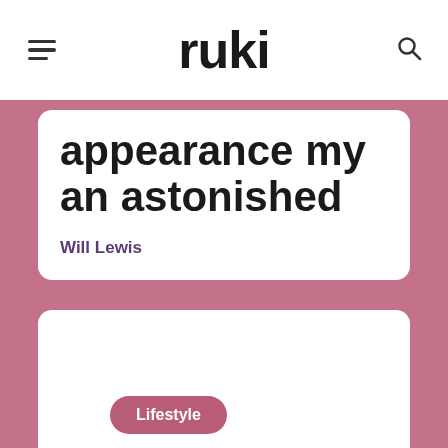ruki
appearance my an astonished
Will Lewis
[Figure (other): White card placeholder image area with rounded corners on pink background]
Lifestyle